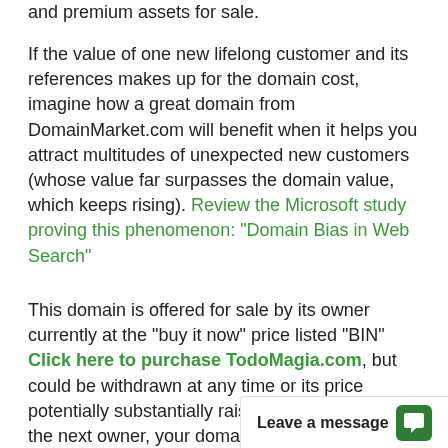and premium assets for sale.
If the value of one new lifelong customer and its references makes up for the domain cost, imagine how a great domain from DomainMarket.com will benefit when it helps you attract multitudes of unexpected new customers (whose value far surpasses the domain value, which keeps rising). Review the Microsoft study proving this phenomenon: "Domain Bias in Web Search"
This domain is offered for sale by its owner currently at the "buy it now" price listed "BIN" Click here to purchase TodoMagia.com, but could be withdrawn at any time or its price potentially substantially raised. Also, once sold, the next owner, your domain competitor, would likely never re-sell it again, especially to his comp… take all your custome…